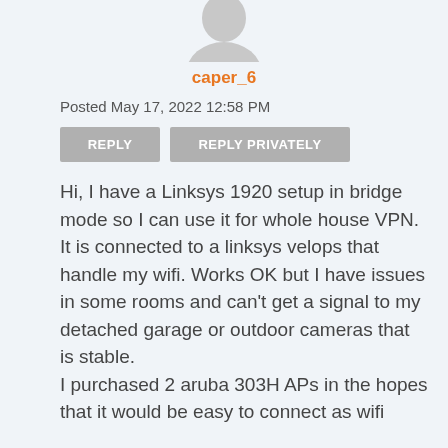[Figure (illustration): Gray placeholder avatar silhouette of a person, partially visible at the top]
caper_6
Posted May 17, 2022 12:58 PM
REPLY
REPLY PRIVATELY
Hi, I have a Linksys 1920 setup in bridge mode so I can use it for whole house VPN. It is connected to a linksys velops that handle my wifi. Works OK but I have issues in some rooms and can't get a signal to my detached garage or outdoor cameras that is stable.
I purchased 2 aruba 303H APs in the hopes that it would be easy to connect as wifi